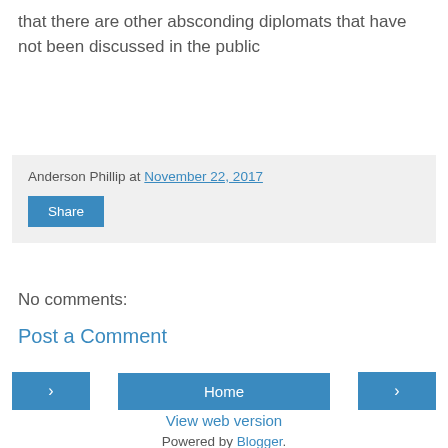that there are other absconding diplomats that have not been discussed in the public
Anderson Phillip at November 22, 2017
Share
No comments:
Post a Comment
< Home >
View web version
Powered by Blogger.